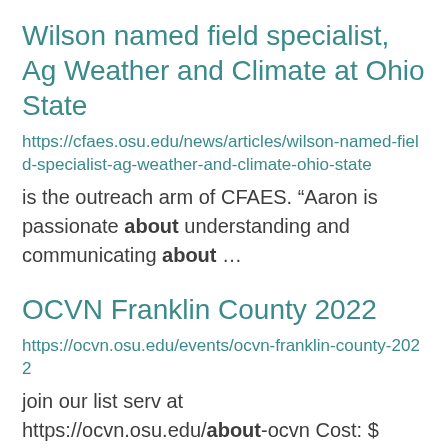Wilson named field specialist, Ag Weather and Climate at Ohio State
https://cfaes.osu.edu/news/articles/wilson-named-field-specialist-ag-weather-and-climate-ohio-state
is the outreach arm of CFAES. “Aaron is passionate about understanding and communicating about ...
OCVN Franklin County 2022
https://ocvn.osu.edu/events/ocvn-franklin-county-2022
join our list serv at https://ocvn.osu.edu/about-ocvn Cost: $ 100.00 We will post the registration ...